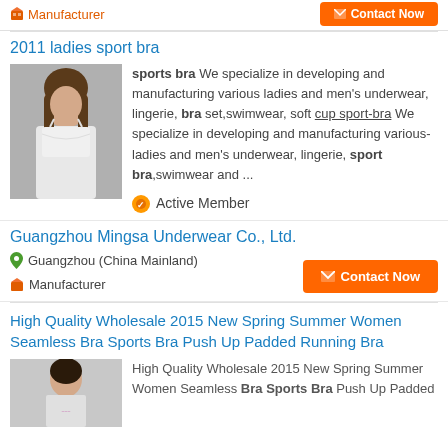Manufacturer
2011 ladies sport bra
[Figure (photo): Woman wearing a white lace bra against a grey background]
sports bra We specialize in developing and manufacturing various ladies and men's underwear, lingerie, bra set,swimwear, soft cup sport-bra We specialize in developing and manufacturing various-ladies and men's underwear, lingerie, sport bra,swimwear and ...
Active Member
Guangzhou Mingsa Underwear Co., Ltd.
Guangzhou (China Mainland)
Manufacturer
Contact Now
High Quality Wholesale 2015 New Spring Summer Women Seamless Bra Sports Bra Push Up Padded Running Bra
[Figure (photo): Woman model for product listing]
High Quality Wholesale 2015 New Spring Summer Women Seamless Bra Sports Bra Push Up Padded